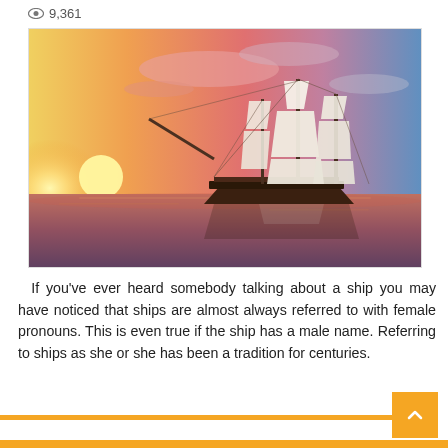👁 9,361
[Figure (photo): A tall sailing ship with full white sails on a calm sea at sunset, with a dramatic orange and blue sky]
If you've ever heard somebody talking about a ship you may have noticed that ships are almost always referred to with female pronouns. This is even true if the ship has a male name. Referring to ships as she or she has been a tradition for centuries.
Read More »